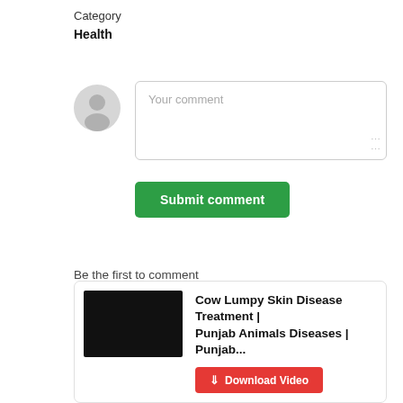Category
Health
[Figure (illustration): Grey avatar/user placeholder icon circle]
Your comment
Submit comment
Be the first to comment
[Figure (screenshot): Related video card with dark thumbnail and title: Cow Lumpy Skin Disease Treatment | Punjab Animals Diseases | Punjab... with a red Download Video button]